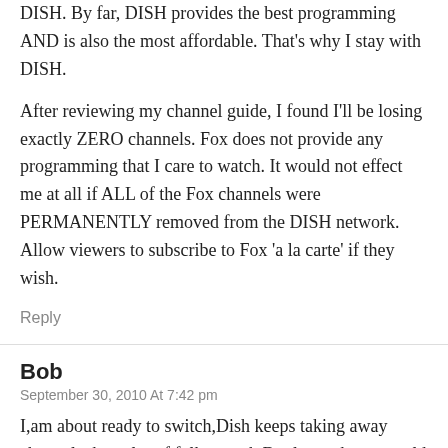DISH. By far, DISH provides the best programming AND is also the most affordable. That's why I stay with DISH.
After reviewing my channel guide, I found I'll be losing exactly ZERO channels. Fox does not provide any programming that I care to watch. It would not effect me at all if ALL of the Fox channels were PERMANENTLY removed from the DISH network. Allow viewers to subscribe to Fox 'a la carte' if they wish.
Reply
Bob
September 30, 2010 At 7:42 pm
I,am about ready to switch,Dish keeps taking away channels that a lot of folks watch.But leave the same old movies on along with many junk channels,that no one watches. They could cut cost on the junk,so